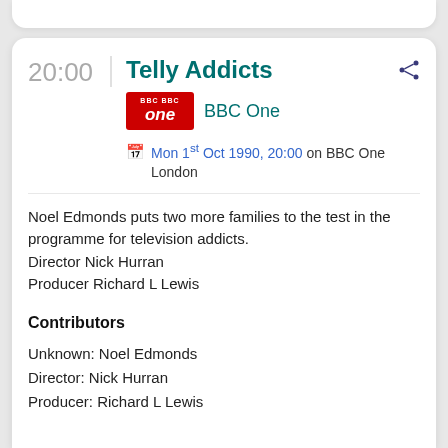Telly Addicts
20:00
BBC One
Mon 1st Oct 1990, 20:00 on BBC One London
Noel Edmonds puts two more families to the test in the programme for television addicts.
Director Nick Hurran
Producer Richard L Lewis
Contributors
Unknown: Noel Edmonds
Director: Nick Hurran
Producer: Richard L Lewis